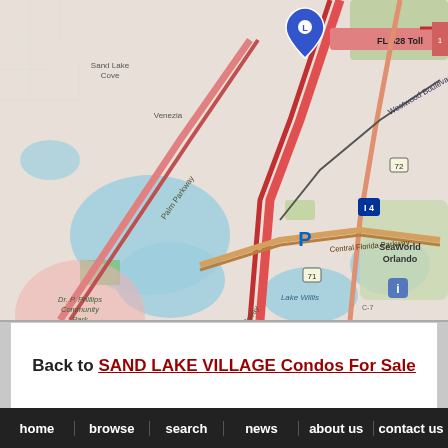[Figure (map): Street map showing Sand Lake Village area near Orlando, FL. Features Palm Parkway, Turkey Lake Road, I-4, FL 528 Toll road, Westwood Boulevard, Central Florida Parkway, SeaWorld Orlando, Dr. P. Phillips Community Park, The Village at O-Town West, Lake Willis. Blue location pin marker near top center.]
Back to SAND LAKE VILLAGE Condos For Sale
home | browse | search | news | about us | contact us